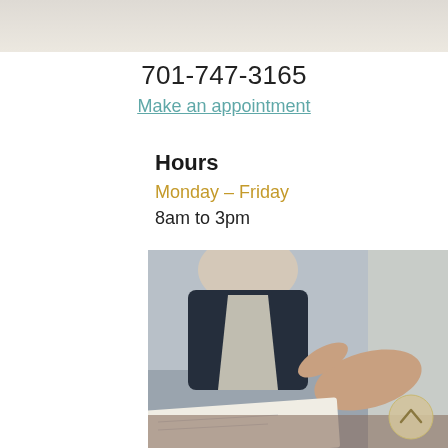[Figure (photo): Top portion of a background image, light gray/beige color, partially visible at top of page]
701-747-3165
Make an appointment
Hours
Monday – Friday
8am to 3pm
[Figure (photo): Business meeting photo showing two people at a desk, one in a dark suit gesturing with hand, papers on desk, with a circular scroll-up button overlay in bottom right corner]